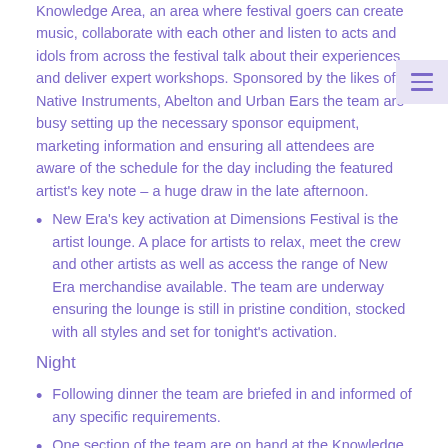Knowledge Area, an area where festival goers can create music, collaborate with each other and listen to acts and idols from across the festival talk about their experiences and deliver expert workshops. Sponsored by the likes of Native Instruments, Abelton and Urban Ears the team are busy setting up the necessary sponsor equipment, marketing information and ensuring all attendees are aware of the schedule for the day including the featured artist's key note – a huge draw in the late afternoon.
New Era's key activation at Dimensions Festival is the artist lounge. A place for artists to relax, meet the crew and other artists as well as access the range of New Era merchandise available. The team are underway ensuring the lounge is still in pristine condition, stocked with all styles and set for tonight's activation.
Night
Following dinner the team are briefed in and informed of any specific requirements.
One section of the team are on hand at the Knowledge